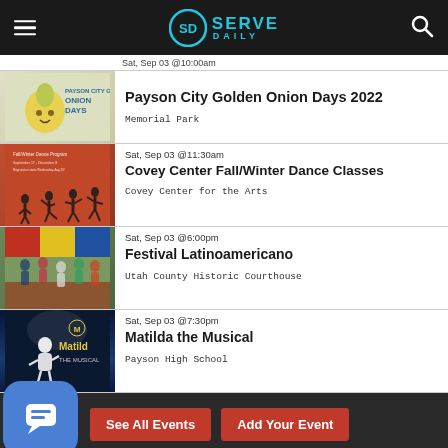Serve Daily
Sat, Sep 03 @10:00am
Payson City Golden Onion Days 2022
Memorial Park
Sat, Sep 03 @11:30am
Covey Center Fall/Winter Dance Classes
Covey Center for the Arts
Sat, Sep 03 @6:00pm
Festival Latinoamericano
Utah County Historic Courthouse
Sat, Sep 03 @7:30pm
Matilda the Musical
Payson High School
See All Events | Add Your Event